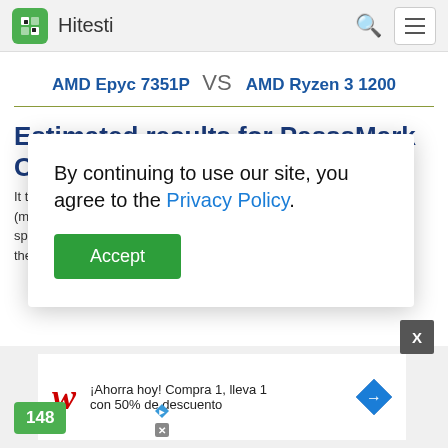Hitesti
AMD Epyc 7351P VS AMD Ryzen 3 1200
Estimated results for PasssMark CPU Ma…
It test… g unit (math… speed… from the re… and che…
By continuing to use our site, you agree to the Privacy Policy.
Accept
[Figure (screenshot): Advertisement: Walgreens – ¡Ahorra hoy! Compra 1, lleva 1 con 50% de descuento]
148